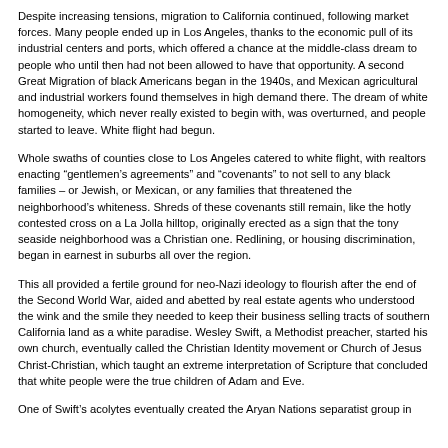Despite increasing tensions, migration to California continued, following market forces. Many people ended up in Los Angeles, thanks to the economic pull of its industrial centers and ports, which offered a chance at the middle-class dream to people who until then had not been allowed to have that opportunity. A second Great Migration of black Americans began in the 1940s, and Mexican agricultural and industrial workers found themselves in high demand there. The dream of white homogeneity, which never really existed to begin with, was overturned, and people started to leave. White flight had begun.
Whole swaths of counties close to Los Angeles catered to white flight, with realtors enacting “gentlemen’s agreements” and “covenants” to not sell to any black families – or Jewish, or Mexican, or any families that threatened the neighborhood’s whiteness. Shreds of these covenants still remain, like the hotly contested cross on a La Jolla hilltop, originally erected as a sign that the tony seaside neighborhood was a Christian one. Redlining, or housing discrimination, began in earnest in suburbs all over the region.
This all provided a fertile ground for neo-Nazi ideology to flourish after the end of the Second World War, aided and abetted by real estate agents who understood the wink and the smile they needed to keep their business selling tracts of southern California land as a white paradise. Wesley Swift, a Methodist preacher, started his own church, eventually called the Christian Identity movement or Church of Jesus Christ-Christian, which taught an extreme interpretation of Scripture that concluded that white people were the true children of Adam and Eve.
One of Swift’s acolytes eventually created the Aryan Nations separatist group in